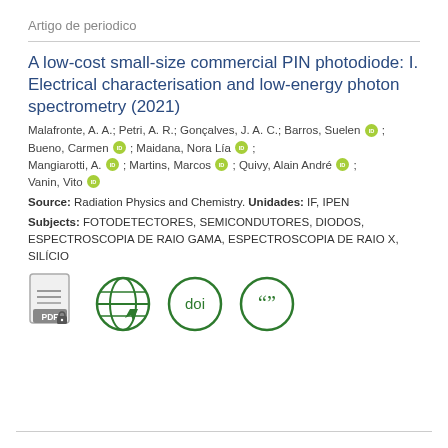Artigo de periodico
A low-cost small-size commercial PIN photodiode: I. Electrical characterisation and low-energy photon spectrometry (2021)
Malafronte, A. A.; Petri, A. R.; Gonçalves, J. A. C.; Barros, Suelen [orcid]; Bueno, Carmen [orcid]; Maidana, Nora Lía [orcid]; Mangiarotti, A. [orcid]; Martins, Marcos [orcid]; Quivy, Alain André [orcid]; Vanin, Vito [orcid]
Source: Radiation Physics and Chemistry. Unidades: IF, IPEN
Subjects: FOTODETECTORES, SEMICONDUTORES, DIODOS, ESPECTROSCOPIA DE RAIO GAMA, ESPECTROSCOPIA DE RAIO X, SILÍCIO
[Figure (other): Row of icons: PDF document icon, globe/web icon, DOI icon (circle with 'doi'), citation/quote icon (circle with quotation marks)]